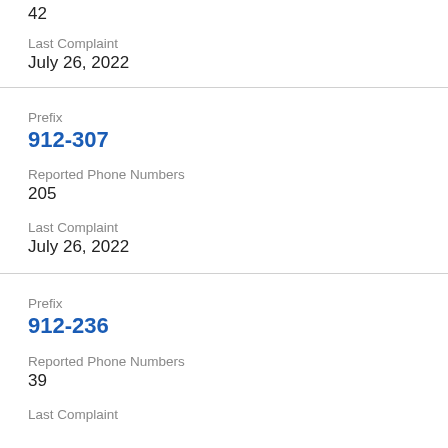42
Last Complaint
July 26, 2022
Prefix
912-307
Reported Phone Numbers
205
Last Complaint
July 26, 2022
Prefix
912-236
Reported Phone Numbers
39
Last Complaint